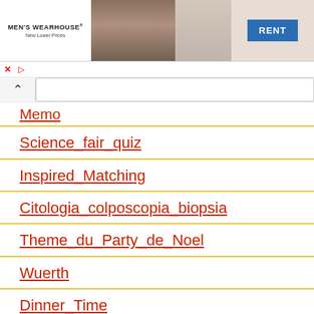[Figure (photo): Men's Wearhouse advertisement banner showing a couple in formal wear and a man in a tan suit, with a blue RENT button]
Memo
Science_fair_quiz
Inspired_Matching
Citologia_colposcopia_biopsia
Theme_du_Party_de_Noel
Wuerth
Dinner_Time
Las_profesiones
ASL_Match
Frutas